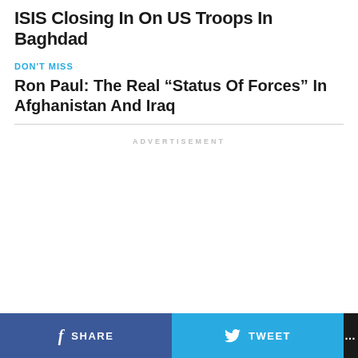ISIS Closing In On US Troops In Baghdad
DON'T MISS
Ron Paul: The Real “Status Of Forces” In Afghanistan And Iraq
ADVERTISEMENT
SHARE  TWEET  ...